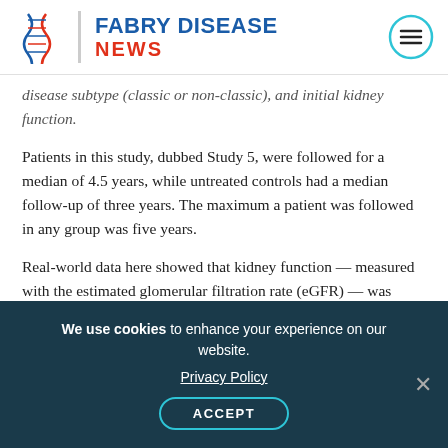FABRY DISEASE NEWS
disease subtype (classic or non-classic), and initial kidney function.
Patients in this study, dubbed Study 5, were followed for a median of 4.5 years, while untreated controls had a median follow-up of three years. The maximum a patient was followed in any group was five years.
Real-world data here showed that kidney function — measured with the estimated glomerular filtration rate (eGFR) — was better preserved in patients using Fabrazyme over time than was
We use cookies to enhance your experience on our website. Privacy Policy ACCEPT